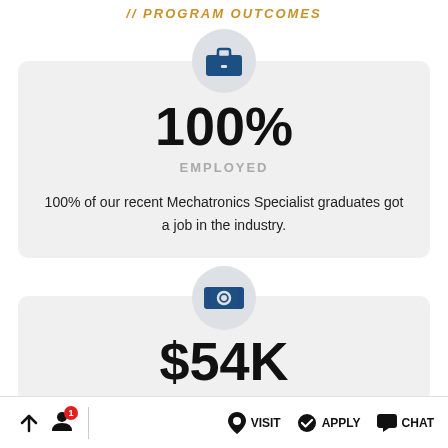// PROGRAM OUTCOMES
[Figure (infographic): Blue briefcase icon inside a light gray circle, representing employment]
100%
EMPLOYED
100% of our recent Mechatronics Specialist graduates got a job in the industry.
[Figure (infographic): Blue money/cash icon inside a light gray circle, representing salary]
$54K
↑  1  VISIT  APPLY  CHAT